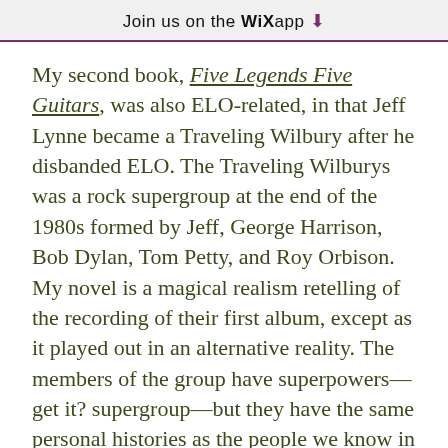Join us on the WiX app ↓
My second book, Five Legends Five Guitars, was also ELO-related, in that Jeff Lynne became a Traveling Wilbury after he disbanded ELO. The Traveling Wilburys was a rock supergroup at the end of the 1980s formed by Jeff, George Harrison, Bob Dylan, Tom Petty, and Roy Orbison. My novel is a magical realism retelling of the recording of their first album, except as it played out in an alternative reality. The members of the group have superpowers—get it? supergroup—but they have the same personal histories as the people we know in